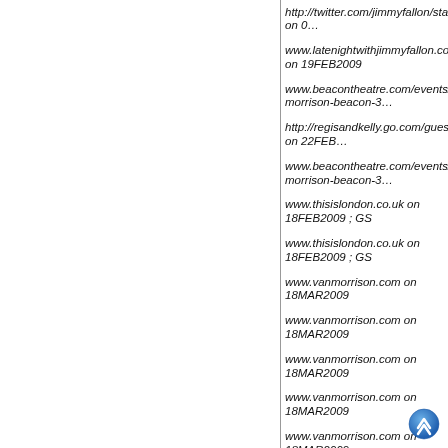http://twitter.com/jimmyfallon/statuses/1269930602 on 0…
www.latenightwithjimmyfallon.com on 19FEB2009
www.beacontheatre.com/events/van-morrison-beacon-3…
http://regisandkelly.go.com/guest_guide.html on 22FEB…
www.beacontheatre.com/events/van-morrison-beacon-3…
www.thisislondon.co.uk on 18FEB2009 ; GS
www.thisislondon.co.uk on 18FEB2009 ; GS
www.vanmorrison.com on 18MAR2009
www.vanmorrison.com on 18MAR2009
www.vanmorrison.com on 18MAR2009
www.vanmorrison.com on 18MAR2009
www.vanmorrison.com on 18MAR2009
GS-www.colstonhall.org boxoffice whatson Event832 on… Note the change of date (06MAR2009) - all original ticke…
www.ticketmaster.com on 16JUN2009